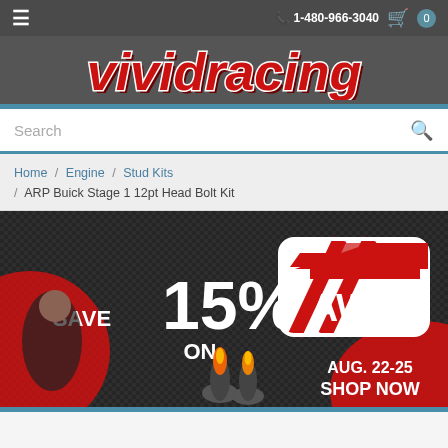☰   1-480-966-3040   🛒 0
[Figure (logo): Vivid Racing logo in red/white italic bold text on dark gray background]
Search
Home / Engine / Stud Kits / ARP Buick Stage 1 12pt Head Bolt Kit
[Figure (photo): Promotional banner: SAVE 15% ON AWE brand products. AUG. 22-25 SHOP NOW. Features woman pointing at exhaust tips with flames on dark carbon fiber background.]